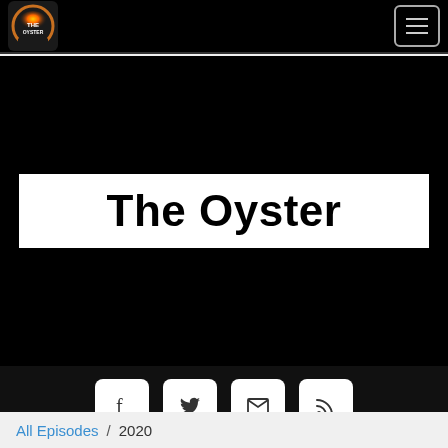The Oyster - navigation bar with logo and hamburger menu
The Oyster
[Figure (other): Social media buttons: Facebook, Twitter, Email, RSS on a black background]
All Episodes / 2020